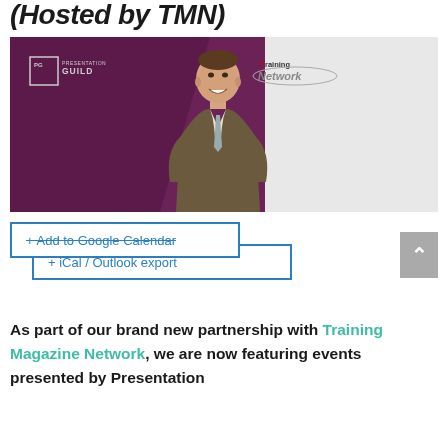(Hosted by TMN)
[Figure (photo): A man in a brown suit and patterned tie smiling on stage, with a Presentation Guild logo and Training Magazine Network logo visible on a purple/white backdrop.]
+ Add to Google Calendar
+ iCal / Outlook export
As part of our brand new partnership with Training Magazine Network, we are now featuring events presented by Presentation